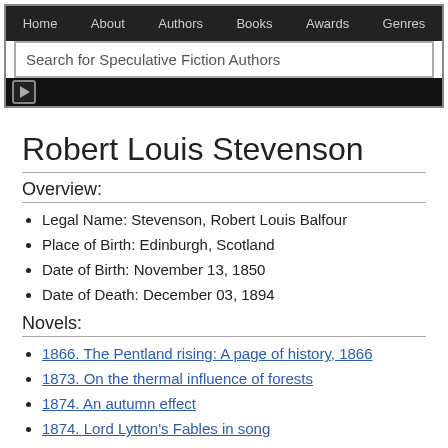Home | About | Authors | Books | Awards | Genres
Search for Speculative Fiction Authors
Robert Louis Stevenson
Overview:
Legal Name: Stevenson, Robert Louis Balfour
Place of Birth: Edinburgh, Scotland
Date of Birth: November 13, 1850
Date of Death: December 03, 1894
Novels:
1866. The Pentland rising: A page of history, 1866
1873. On the thermal influence of forests
1874. An autumn effect
1874. Lord Lytton's Fables in song
1875. An appeal to the clergy of the Church of Scotland,: With a note for the laity
1879. The amateur emigrant ;: Across the plains ; The old and new Pacific capitals ; The silverado squatters (Works of Robert Louis